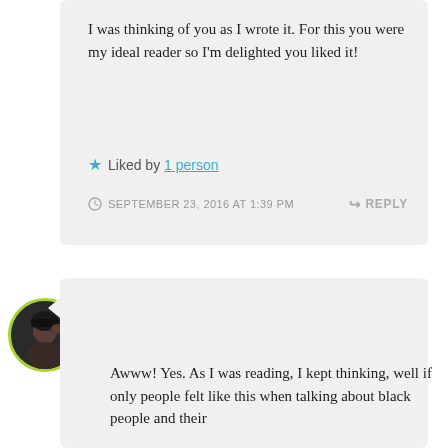I was thinking of you as I wrote it. For this you were my ideal reader so I'm delighted you liked it!
Liked by 1 person
SEPTEMBER 23, 2016 AT 1:39 PM
REPLY
[Figure (photo): Circular avatar photo of K E Garland with green border]
K E Garland
Awww! Yes. As I was reading, I kept thinking, well if only people felt like this when talking about black people and their...